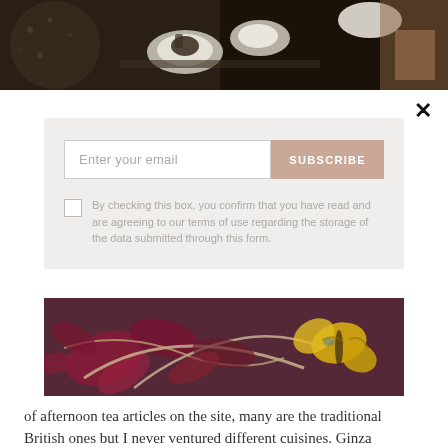[Figure (photo): Top strip: restaurant scene with dishes on table, dark background, person visible on right side]
×
[Figure (screenshot): Email subscription form with 'Enter your email' input field, SUBSCRIBE button in tan/beige color, and a checkbox with terms of use text]
[Figure (photo): Close-up photo of decorative food arrangement with colorful flowers/garnishes and a yellow butterfly decoration on dark purple/red background]
of afternoon tea articles on the site, many are the traditional British ones but I never ventured different cuisines. Ginza